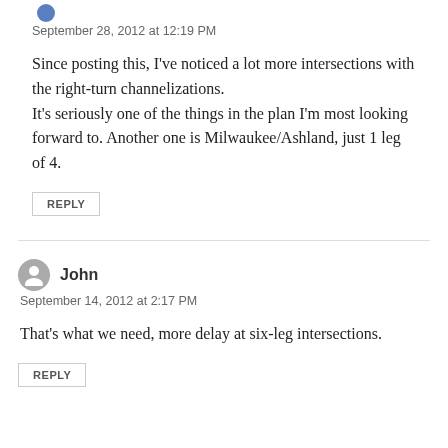September 28, 2012 at 12:19 PM
Since posting this, I've noticed a lot more intersections with the right-turn channelizations.
It's seriously one of the things in the plan I'm most looking forward to. Another one is Milwaukee/Ashland, just 1 leg of 4.
REPLY
John
September 14, 2012 at 2:17 PM
That's what we need, more delay at six-leg intersections.
REPLY